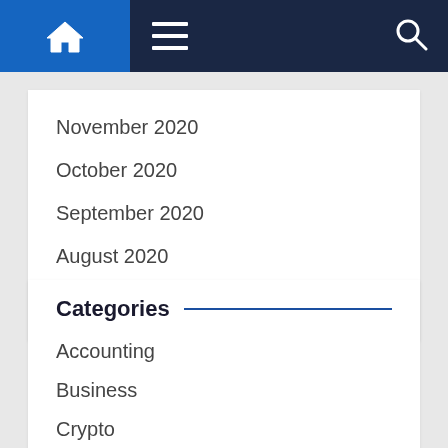Navigation bar with home, menu, and search icons
November 2020
October 2020
September 2020
August 2020
July 2020
Categories
Accounting
Business
Crypto
Currency
Finance